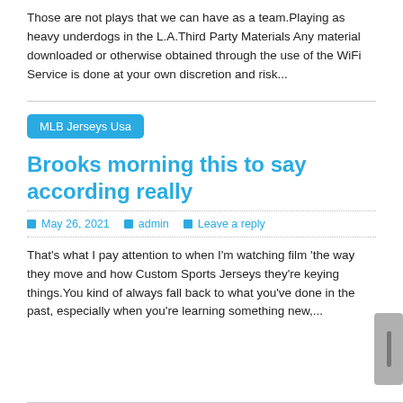Those are not plays that we can have as a team.Playing as heavy underdogs in the L.A.Third Party Materials Any material downloaded or otherwise obtained through the use of the WiFi Service is done at your own discretion and risk...
MLB Jerseys Usa
Brooks morning this to say according really
May 26, 2021   admin   Leave a reply
That's what I pay attention to when I'm watching film 'the way they move and how Custom Sports Jerseys they're keying things.You kind of always fall back to what you've done in the past, especially when you're learning something new,...